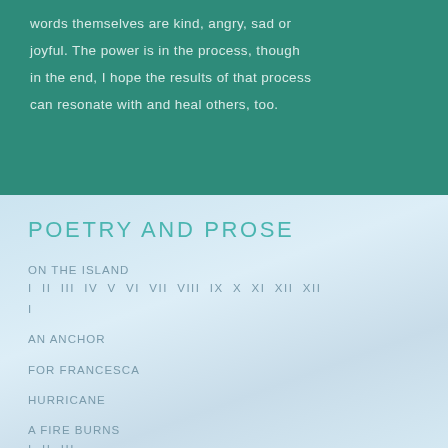words themselves are kind, angry, sad or joyful. The power is in the process, though in the end, I hope the results of that process can resonate with and heal others, too.
POETRY AND PROSE
ON THE ISLAND
I  II  III  IV  V  VI  VII  VIII  IX  X  XI  XII  XII  I
AN ANCHOR
FOR FRANCESCA
HURRICANE
A FIRE BURNS
I  II  III